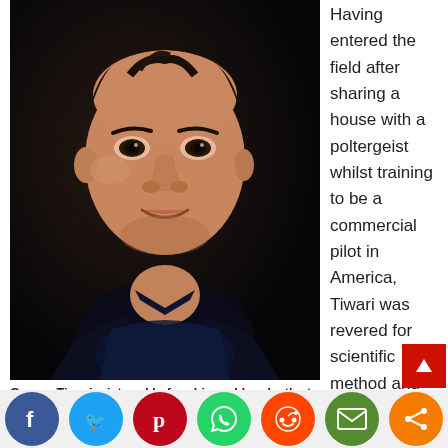[Figure (photo): Portrait photo of Gaurav Tiwari, a young man in a dark shirt against a dark background, looking toward camera]
Gaurav Tiwari, pictured before his sudden death at the age of 31. (Image by Cryptscript02 via Wikipedia)
Having entered the field after sharing a house with a poltergeist whilst training to be a commercial pilot in America, Tiwari was revered for scientific method and his efforts at educating
[Figure (infographic): Social media sharing buttons row: Facebook (blue), Twitter (light blue), Pinterest (red), WhatsApp (green), Reddit (orange-red), Email (dark green), Share (orange). Partial labels visible below buttons.]